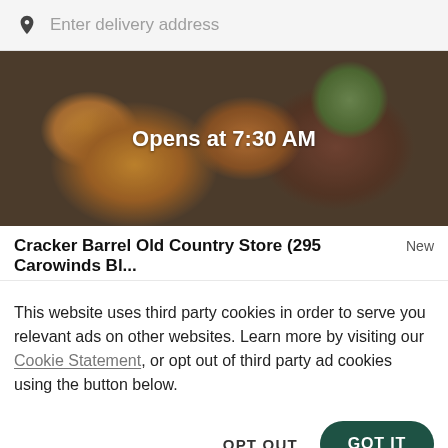Enter delivery address
[Figure (photo): Food photo showing fried chicken and a bowl of green vegetables on a dark background, with overlay text 'Opens at 7:30 AM']
Cracker Barrel Old Country Store (295 Carowinds Bl...
New
This website uses third party cookies in order to serve you relevant ads on other websites. Learn more by visiting our Cookie Statement, or opt out of third party ad cookies using the button below.
OPT OUT
GOT IT